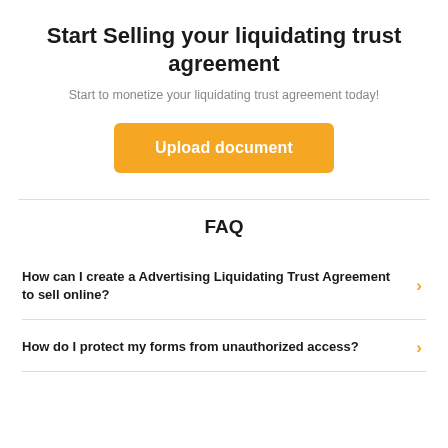Start Selling your liquidating trust agreement
Start to monetize your liquidating trust agreement today!
[Figure (other): Orange button labeled 'Upload document']
FAQ
How can I create a Advertising Liquidating Trust Agreement to sell online?
How do I protect my forms from unauthorized access?